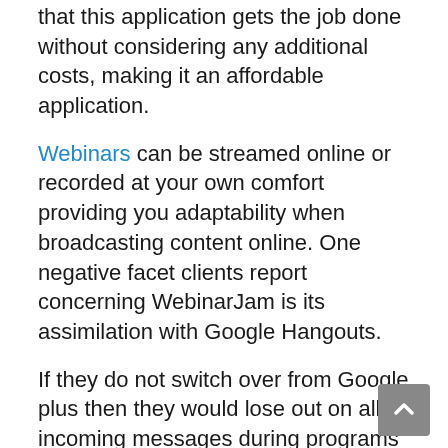WebinarJam's simplicity of use as well as feel that this application gets the job done without considering any additional costs, making it an affordable application.
Webinars can be streamed online or recorded at your own comfort providing you adaptability when broadcasting content online. One negative facet clients report concerning WebinarJam is its assimilation with Google Hangouts.
If they do not switch over from Google plus then they would lose out on all incoming messages during programs since just those sent out with Webinar Jam will certainly turn up. Customers would prefer more alternatives for tailoring designs than